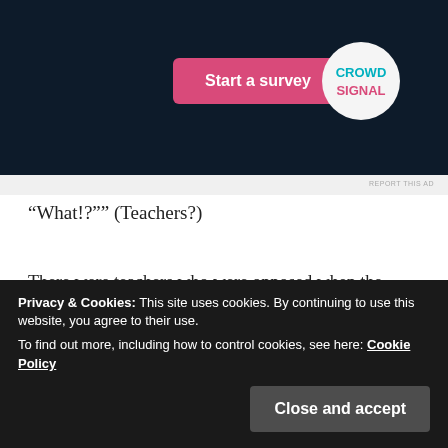[Figure (screenshot): Advertisement banner with dark navy background, pink 'Start a survey' button, and Crowd Signal logo (white circle with teal/pink text)]
REPORT THIS AD
“What!?”” (Teachers?)
There were teachers who were opposed when the headmaster decided on his own but it was immediately settled when he stared at them.
“I want you guys to have a sense of impending crisis. If you remain as it is, you will be made fun by the students, you
Privacy & Cookies: This site uses cookies. By continuing to use this website, you agree to their use.
To find out more, including how to control cookies, see here: Cookie Policy
Close and accept